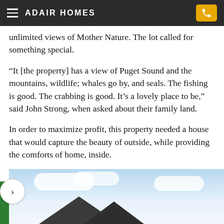ADAIR HOMES
unlimited views of Mother Nature. The lot called for something special.
“It [the property] has a view of Puget Sound and the mountains, wildlife; whales go by, and seals. The fishing is good. The crabbing is good. It’s a lovely place to be,” said John Strong, when asked about their family land.
In order to maximize profit, this property needed a house that would capture the beauty of outside, while providing the comforts of home, inside.
Enter, the Everett Plan.
[Figure (photo): Exterior photo of a house with dark roofline against a partly cloudy blue sky]